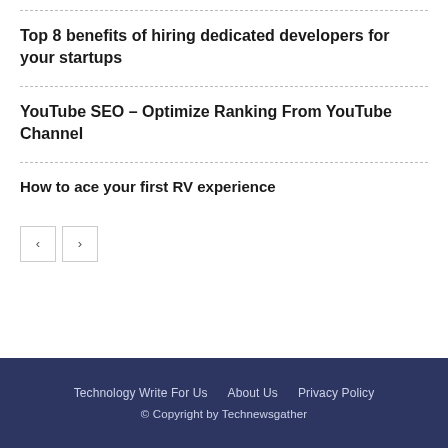Top 8 benefits of hiring dedicated developers for your startups
YouTube SEO – Optimize Ranking From YouTube Channel
How to ace your first RV experience
Technology Write For Us  About Us  Privacy Policy
© Copyright by Technewsgather